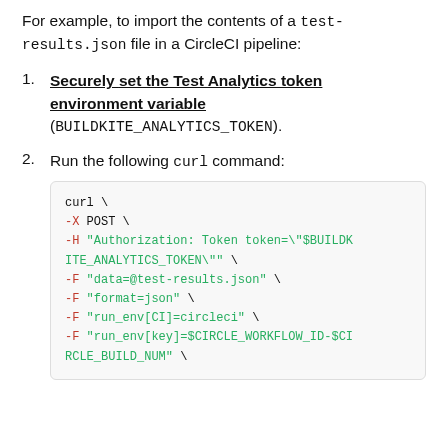For example, to import the contents of a test-results.json file in a CircleCI pipeline:
Securely set the Test Analytics token environment variable (BUILDKITE_ANALYTICS_TOKEN).
Run the following curl command:
[Figure (screenshot): Code block showing a curl command with flags -X POST, -H Authorization header using $BUILDKITE_ANALYTICS_TOKEN, -F data=@test-results.json, -F format=json, -F run_env[CI]=circleci, -F run_env[key]=$CIRCLE_WORKFLOW_ID-$CIRCLE_BUILD_NUM]